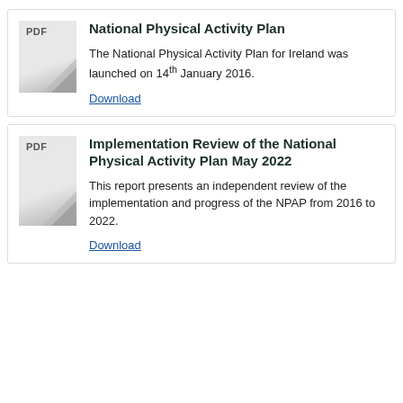[Figure (other): PDF document thumbnail icon for National Physical Activity Plan]
National Physical Activity Plan
The National Physical Activity Plan for Ireland was launched on 14th January 2016.
Download
[Figure (other): PDF document thumbnail icon for Implementation Review of the National Physical Activity Plan May 2022]
Implementation Review of the National Physical Activity Plan May 2022
This report presents an independent review of the implementation and progress of the NPAP from 2016 to 2022.
Download